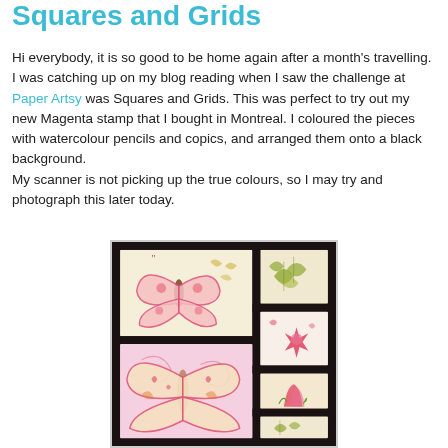Squares and Grids
Hi everybody, it is so good to be home again after a month's travelling.
I was catching up on my blog reading when I saw the challenge at Paper Artsy was Squares and Grids. This was perfect to try out my new Magenta stamp that I bought in Montreal. I coloured the pieces with watercolour pencils and copics, and arranged them onto a black background.
My scanner is not picking up the true colours, so I may try and photograph this later today.
[Figure (photo): A crafted artwork on a black background showing a grid layout with watercoloured butterfly and floral stamp pieces arranged in squares: a large butterfly panel on the left, smaller panels on the right showing flowers, leaves, and floral motifs in pink and green tones.]